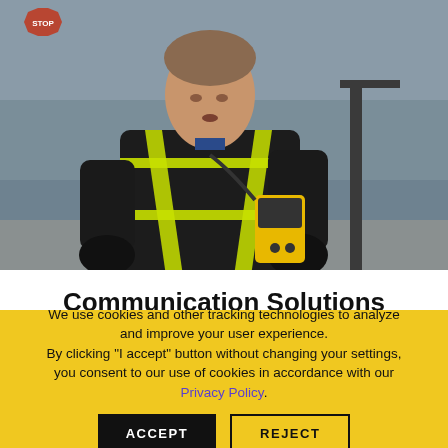[Figure (photo): A worker in a black jacket with yellow/green reflective safety vest stripes, wearing black gloves, holding a yellow device (gas detector or radio) near their chest. Urban/industrial background.]
Communication Solutions
Mission-critical Motorola 2-way radios, towers
We use cookies and other tracking technologies to analyze and improve your user experience. By clicking "I accept" button without changing your settings, you consent to our use of cookies in accordance with our Privacy Policy.